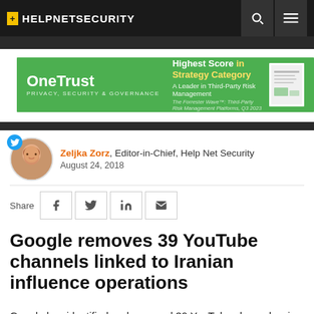HELPNETSECURITY
[Figure (infographic): OneTrust advertisement banner: green background, OneTrust logo on left, 'Highest Score in Strategy Category - A Leader in Third-Party Risk Management' text, and a document image on right]
Zeljka Zorz, Editor-in-Chief, Help Net Security
August 24, 2018
Share
Google removes 39 YouTube channels linked to Iranian influence operations
Google has identified and removed 39 YouTube channels, six blogs on Blogger and thirteen Google+ accounts linked to IRIB, the Islamic Republic of Iran Broadcasting, which